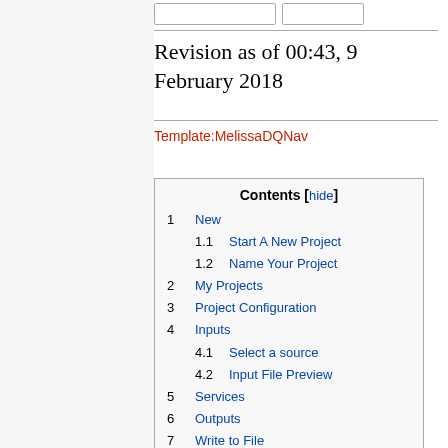Revision as of 00:43, 9 February 2018
Template:MelissaDQNav
| Contents | hide |
| --- | --- |
| 1 | New |
| 1.1 | Start A New Project |
| 1.2 | Name Your Project |
| 2 | My Projects |
| 3 | Project Configuration |
| 4 | Inputs |
| 4.1 | Select a source |
| 4.2 | Input File Preview |
| 5 | Services |
| 6 | Outputs |
| 7 | Write to File |